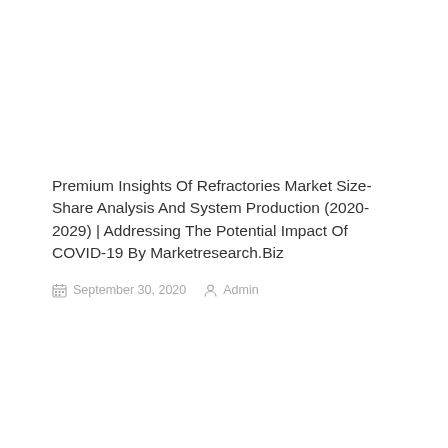Premium Insights Of Refractories Market Size-Share Analysis And System Production (2020-2029) | Addressing The Potential Impact Of COVID-19 By Marketresearch.Biz
September 30, 2020   Admin